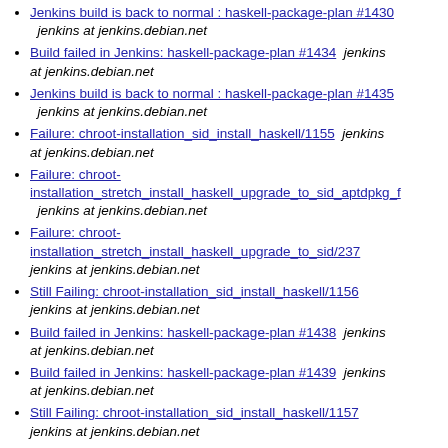Jenkins build is back to normal : haskell-package-plan #1430  jenkins at jenkins.debian.net
Build failed in Jenkins: haskell-package-plan #1434  jenkins at jenkins.debian.net
Jenkins build is back to normal : haskell-package-plan #1435  jenkins at jenkins.debian.net
Failure: chroot-installation_sid_install_haskell/1155  jenkins at jenkins.debian.net
Failure: chroot-installation_stretch_install_haskell_upgrade_to_sid_aptdpkg_f  jenkins at jenkins.debian.net
Failure: chroot-installation_stretch_install_haskell_upgrade_to_sid/237  jenkins at jenkins.debian.net
Still Failing: chroot-installation_sid_install_haskell/1156  jenkins at jenkins.debian.net
Build failed in Jenkins: haskell-package-plan #1438  jenkins at jenkins.debian.net
Build failed in Jenkins: haskell-package-plan #1439  jenkins at jenkins.debian.net
Still Failing: chroot-installation_sid_install_haskell/1157  jenkins at jenkins.debian.net
Still Failing: chroot-installation_stretch_install_haskell_upgrade_to_sid_aptdpkg_f  jenkins at jenkins.debian.net